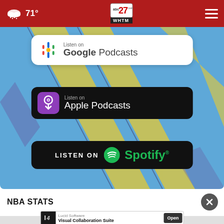71° | ABC27 WHTM | Navigation
[Figure (screenshot): Podcast listening badges on a blue and yellow diagonal background: Google Podcasts, Apple Podcasts, and Spotify badges stacked vertically.]
NBA STATS
[Figure (screenshot): Advertisement banner: Lucid Software - Visual Collaboration Suite - Open button]
Eastern Conference